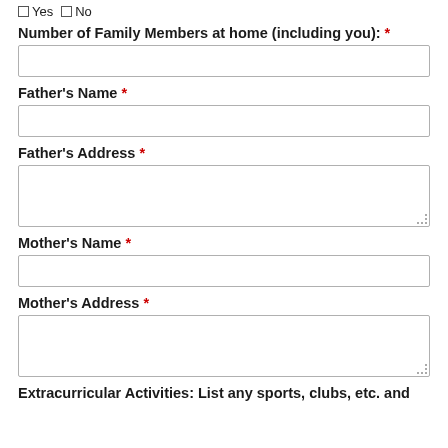Yes  No
Number of Family Members at home (including you): *
Father's Name *
Father's Address *
Mother's Name *
Mother's Address *
Extracurricular Activities: List any sports, clubs, etc. and